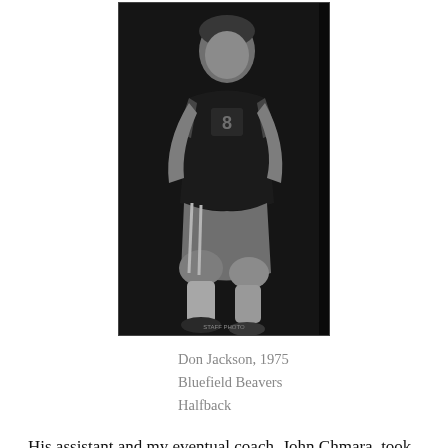[Figure (photo): Black and white newspaper photo of Don Jackson, a football player in uniform, crouching in a posed athletic stance, wearing jersey number 8 or 18.]
Don Jackson, 1975
Bluefield Beavers
Halfback
His assistant and my eventual coach, John Chmara, took over the program in 1968. The 1968 team finished 9-0 but did not win the state championship since Bluefield ended